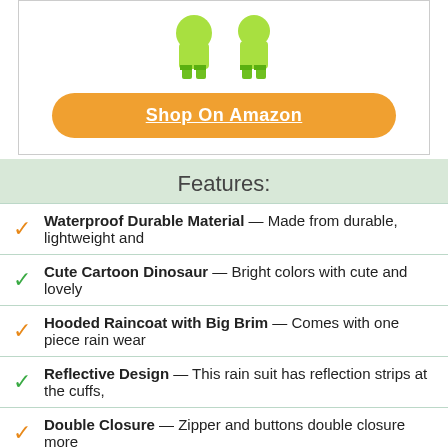[Figure (photo): Children wearing green dinosaur rain suits, showing legs and boots]
Shop On Amazon
Features:
Waterproof Durable Material — Made from durable, lightweight and
Cute Cartoon Dinosaur — Bright colors with cute and lovely
Hooded Raincoat with Big Brim — Comes with one piece rain wear
Reflective Design — This rain suit has reflection strips at the cuffs,
Double Closure — Zipper and buttons double closure more
5. TODDLER RAIN SUIT WITH HOOD KIDS WATERPROOF COVERALL BABY ONE PIECE OUTDOORS RAIN WEAR YELLOW 1-3 YEARS
[Figure (photo): Toddler wearing colorful patterned rain suit with hood, bottom of image]